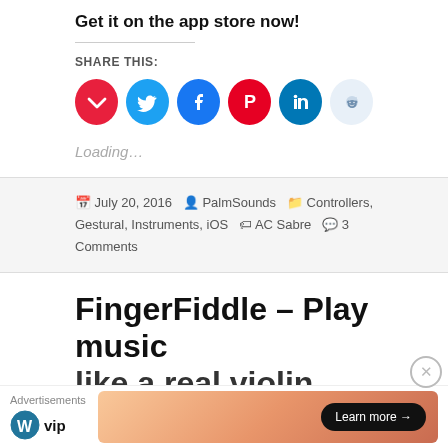Get it on the app store now!
SHARE THIS:
[Figure (illustration): Social sharing buttons: Pocket (red), Twitter (blue), Facebook (dark blue), Pinterest (red), LinkedIn (teal), Reddit (light gray)]
Loading...
July 20, 2016  PalmSounds  Controllers, Gestural, Instruments, iOS  AC Sabre  3 Comments
FingerFiddle – Play music like a real violini...
Advertisements
[Figure (logo): WordPress VIP logo with WP icon]
[Figure (infographic): Advertisement banner with gradient orange/pink background and Learn more button]